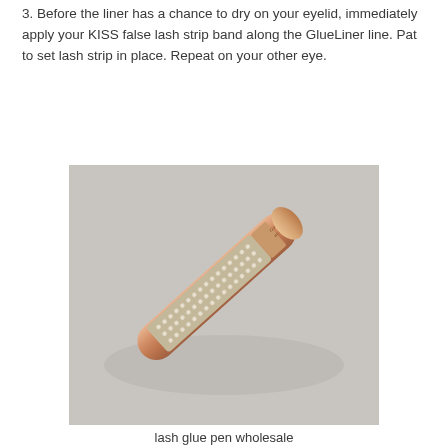3. Before the liner has a chance to dry on your eyelid, immediately apply your KISS false lash strip band along the GlueLiner line. Pat to set lash strip in place. Repeat on your other eye.
[Figure (photo): A rose gold eyeliner pen decorated with rows of rhinestones/crystals along its body, photographed at a diagonal angle against a light grey background. The pen has script text on its upper gold section.]
lash glue pen wholesale